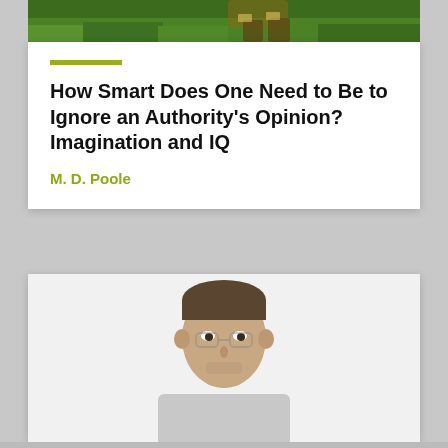[Figure (photo): Top partial image showing green grass with a person's legs/feet in athletic shoes, cropped at the bottom of the card]
How Smart Does One Need to Be to Ignore an Authority's Opinion? Imagination and IQ
M. D. Poole
[Figure (photo): Portrait photo of a young man with short hair, light stubble, wearing a light grey t-shirt, against a white/light grey background, shown from chest up]